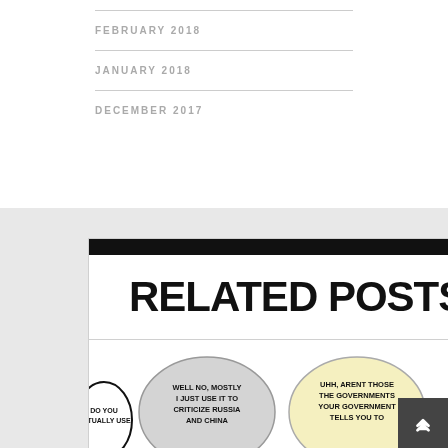FEBRUARY 2018
JANUARY 2018
DECEMBER 2017
RELATED POSTS
[Figure (illustration): Comic strip with speech bubbles. Left bubble: 'DO YOU ACTUALLY USE', middle bubble: 'WELL NO, MOSTLY I JUST USE IT TO CRITICIZE RUSSIA AND CHINA', right bubble: 'UHH, ARENT THOSE THE GOVERNMENTS YOUR GOVERNMENT TELLS YOU TO']